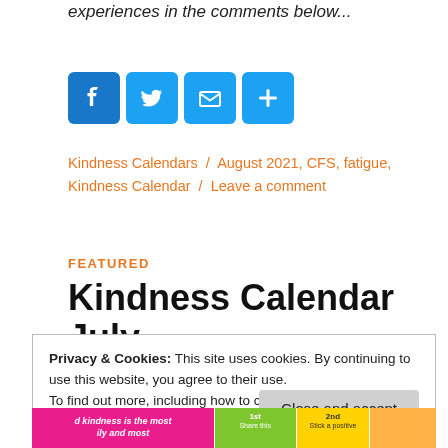experiences in the comments below...
[Figure (infographic): Row of four social sharing icons: Facebook (blue), Twitter (blue), Email (blue), Share/Plus (blue)]
Kindness Calendars / August 2021, CFS, fatigue, Kindness Calendar / Leave a comment
FEATURED
Kindness Calendar July
Privacy & Cookies: This site uses cookies. By continuing to use this website, you agree to their use.
To find out more, including how to control cookies, see here: Cookie Policy
[Figure (infographic): Bottom partial image of a kindness calendar with pink, green, and yellow columns showing calendar dates and small text]